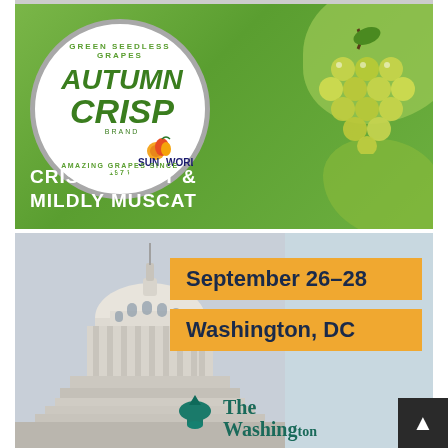[Figure (illustration): Autumn Crisp brand advertisement for Green Seedless Grapes by Sun World. Features a circular badge with 'GREEN SEEDLESS GRAPES' arching top and 'AMAZING GRAPES SINCE 1976' arching bottom, with 'AUTUMN CRISP BRAND' and Sun World logo in center. Green grapes bunch on right. Tagline: 'CRISP, SWEET & MILDLY MUSCAT'. Green background.]
[Figure (photo): Washington DC Capitol building photograph with orange banner overlays showing 'September 26-28' and 'Washington, DC'. Bottom shows partial 'The Washington' logo text in teal green.]